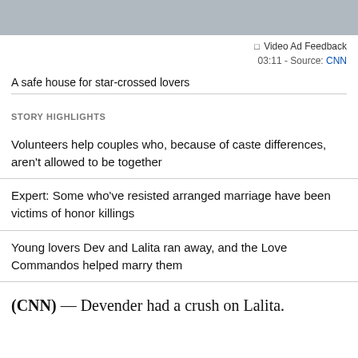[Figure (photo): Partial photo of a group of people at the top of the page]
Video Ad Feedback
03:11 - Source: CNN
A safe house for star-crossed lovers
STORY HIGHLIGHTS
Volunteers help couples who, because of caste differences, aren't allowed to be together
Expert: Some who've resisted arranged marriage have been victims of honor killings
Young lovers Dev and Lalita ran away, and the Love Commandos helped marry them
(CNN) — Devender had a crush on Lalita.